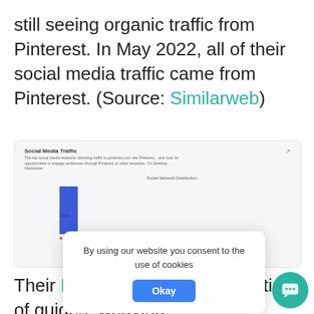still seeing organic traffic from Pinterest. In May 2022, all of their social media traffic came from Pinterest. (Source: Similarweb)
[Figure (screenshot): Similarweb Social Media Traffic screenshot showing Social Network Distribution bar chart with 100% Pinterest traffic as a single blue bar.]
Their Pinterest page is a collection of guides, weaving [pattern/in]spiration. They also [promote] their podcast so [they can reach] relevant audiences.
By using our website you consent to the use of cookies
Okay